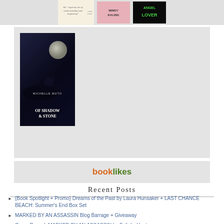[Figure (photo): Top strip showing partial book covers including a cream/light book, Mindy Kaling book (pink/red), and Angel Lover book (black/green)]
[Figure (photo): Gray content box with book cover for 'Of Shadow & Stone' by Michelle Muto — dark fantasy cover with moon and figure]
[Figure (logo): BookLikes logo in orange and green text on gray background]
Recent Posts
{Book Spotlight + Promo} Dreams of the Past by Laura Hunsaker + LAST CHANCE BEACH: Summer's End Box Set
MARKED BY AN ASSASSIN Blog Barrage + Giveaway
Cover Reveal: MARKED BY AN ASSASSIN by Felicity Heaton